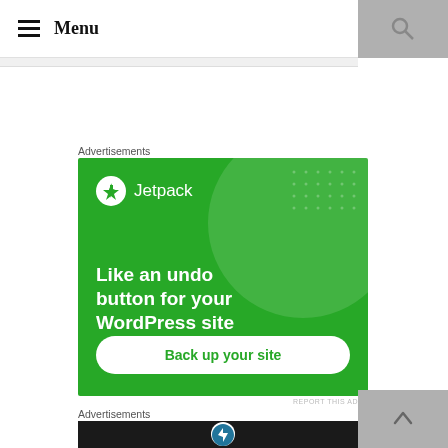≡ Menu
Advertisements
[Figure (infographic): Jetpack advertisement banner on green background with logo, tagline 'Like an undo button for your WordPress site' and 'Back up your site' button]
REPORT THIS AD
Advertisements
[Figure (screenshot): Second advertisement banner showing WordPress logo on dark background]